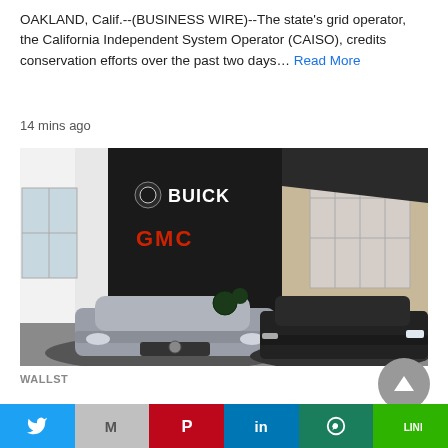OAKLAND, Calif.--(BUSINESS WIRE)--The state's grid operator, the California Independent System Operator (CAISO), credits conservation efforts over the past two days… Read More
14 mins ago
[Figure (photo): Exterior of a Buick GMC dealership showing two vehicles parked in front — a silver sedan and a dark SUV. The dealership sign displays BUICK in white and GMC in red on a black facade.]
WALLST
GM to offer U.S. Buick dealers buyouts
Twitter | Gmail | Pinterest | LinkedIn | WhatsApp | LINE